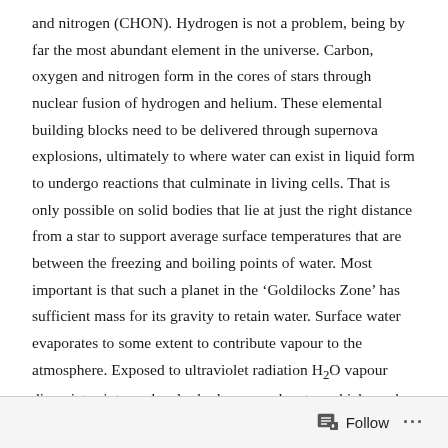and nitrogen (CHON). Hydrogen is not a problem, being by far the most abundant element in the universe. Carbon, oxygen and nitrogen form in the cores of stars through nuclear fusion of hydrogen and helium. These elemental building blocks need to be delivered through supernova explosions, ultimately to where water can exist in liquid form to undergo reactions that culminate in living cells. That is only possible on solid bodies that lie at just the right distance from a star to support average surface temperatures that are between the freezing and boiling points of water. Most important is that such a planet in the ‘Goldilocks Zone’ has sufficient mass for its gravity to retain water. Surface water evaporates to some extent to contribute vapour to the atmosphere. Exposed to ultraviolet radiation H₂O vapour dissociates into molecular hydrogen and water, which can be lost to space if a planet’s escape velocity is less than the thermal vibration of such gas molecules. Such photo-dissociation and diffusion into outer space may have caused Mars to lose more hydrogen in this way than oxygen, to
Follow ···